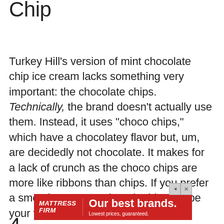Chip
Turkey Hill's version of mint chocolate chip ice cream lacks something very important: the chocolate chips. Technically, the brand doesn't actually use them. Instead, it uses "choco chips," which have a chocolatey flavor but, um, are decidedly not chocolate. It makes for a lack of crunch as the choco chips are more like ribbons than chips. If you prefer a smoother texture, though, this may be your thing—and it's definitely a good option for a milkshake base.
[Figure (other): Mattress Firm advertisement banner with red background. Shows Mattress Firm logo on left and text 'Our best brands. Lowest prices, guaranteed.' on right.]